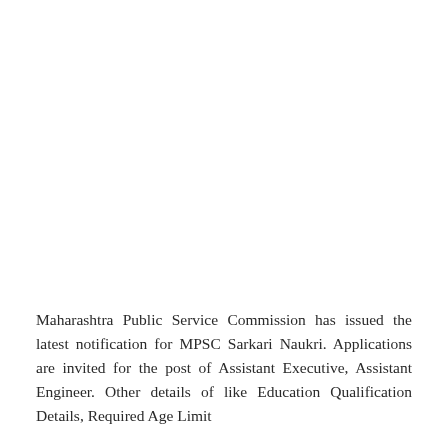Maharashtra Public Service Commission has issued the latest notification for MPSC Sarkari Naukri. Applications are invited for the post of Assistant Executive, Assistant Engineer. Other details of like Education Qualification Details, Required Age Limit